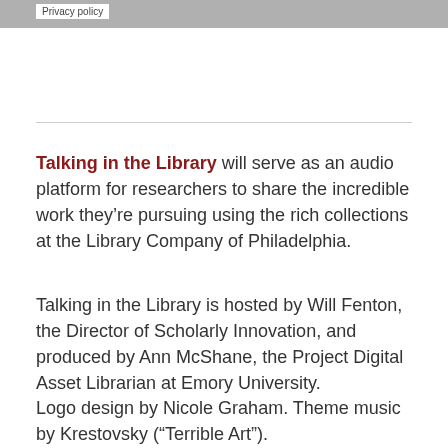Privacy policy
Talking in the Library will serve as an audio platform for researchers to share the incredible work they’re pursuing using the rich collections at the Library Company of Philadelphia.
Talking in the Library is hosted by Will Fenton, the Director of Scholarly Innovation, and produced by Ann McShane, the Project Digital Asset Librarian at Emory University.
Logo design by Nicole Graham. Theme music by Krestovsky (“Terrible Art”).